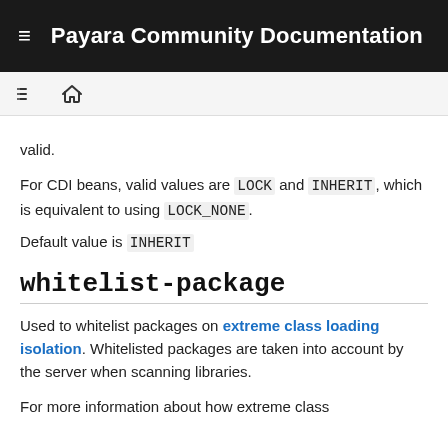Payara Community Documentation
valid.
For CDI beans, valid values are LOCK and INHERIT, which is equivalent to using LOCK_NONE.
Default value is INHERIT
whitelist-package
Used to whitelist packages on extreme class loading isolation. Whitelisted packages are taken into account by the server when scanning libraries.
For more information about how extreme class